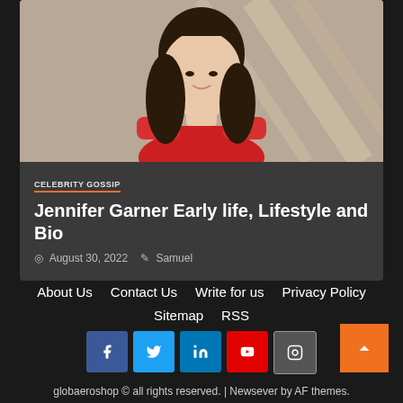[Figure (photo): Photo of Jennifer Garner in a red off-shoulder dress, shown from shoulders up with long dark hair]
CELEBRITY GOSSIP
Jennifer Garner Early life, Lifestyle and Bio
August 30, 2022  Samuel
About Us  Contact Us  Write for us  Privacy Policy  Sitemap  RSS
[Figure (other): Social media icons: Facebook, Twitter, LinkedIn, YouTube, Instagram]
globaeroshop © all rights reserved. | Newsever by AF themes.